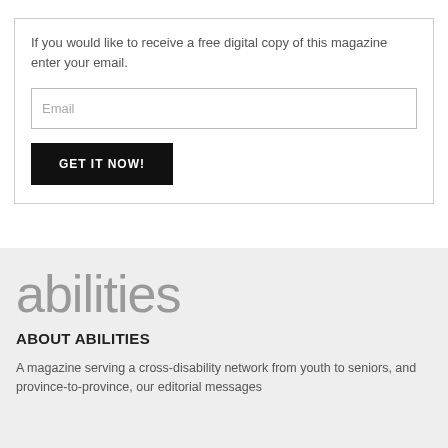If you would like to receive a free digital copy of this magazine enter your email.
[Figure (screenshot): Email input field with placeholder text 'Email']
[Figure (screenshot): Black button labeled 'GET IT NOW!']
[Figure (logo): Abilities magazine logo in large grey lowercase text: 'abilities']
ABOUT ABILITIES
A magazine serving a cross-disability network from youth to seniors, and province-to-province, our editorial messages